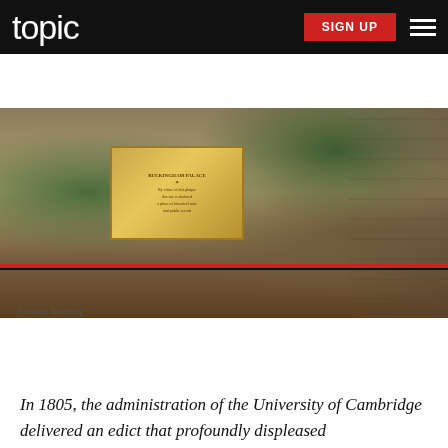topic  SIGN UP
[Figure (photo): Outdoor stone wall with a golden brass plaque mounted on it, surrounded by shrubs and dark mulch.]
Francisca Stoneberg
35 LORD BYRON KEEPS A DOMESTICATED BEAR BECAUSE THE UNIVERSITY WON'T ALLOW DOGS
In 1805, the administration of the University of Cambridge delivered an edict that profoundly displeased